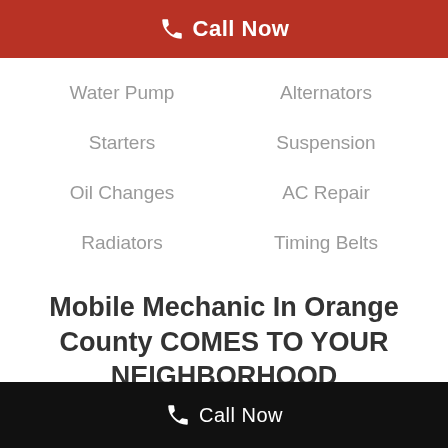Call Now
Water Pump
Alternators
Starters
Suspension
Oil Changes
AC Repair
Radiators
Timing Belts
Mobile Mechanic In Orange County COMES TO YOUR NEIGHBORHOOD
Call Now